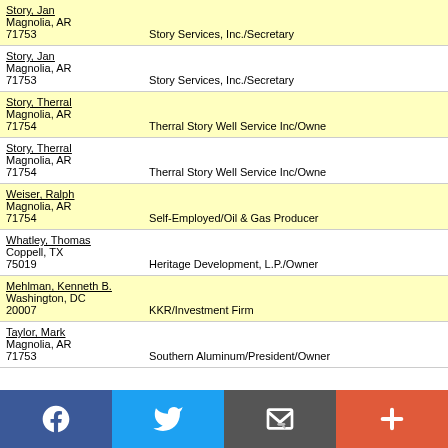Story, Jan
Magnolia, AR
71753    Story Services, Inc./Secretary
Story, Jan
Magnolia, AR
71753    Story Services, Inc./Secretary
Story, Therral
Magnolia, AR
71754    Therral Story Well Service Inc/Owne
Story, Therral
Magnolia, AR
71754    Therral Story Well Service Inc/Owne
Weiser, Ralph
Magnolia, AR
71754    Self-Employed/Oil & Gas Producer
Whatley, Thomas
Coppell, TX
75019    Heritage Development, L.P./Owner
Mehlman, Kenneth B.
Washington, DC
20007    KKR/Investment Firm
Taylor, Mark
Magnolia, AR
71753    Southern Aluminum/President/Owner